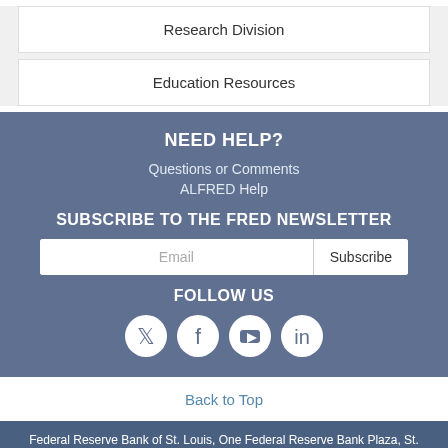Research Division
Education Resources
NEED HELP?
Questions or Comments
ALFRED Help
SUBSCRIBE TO THE FRED NEWSLETTER
Email  Subscribe
FOLLOW US
[Figure (infographic): Social media icons: Twitter, Facebook, YouTube, LinkedIn]
Back to Top
Federal Reserve Bank of St. Louis, One Federal Reserve Bank Plaza, St. Louis, MO 63102